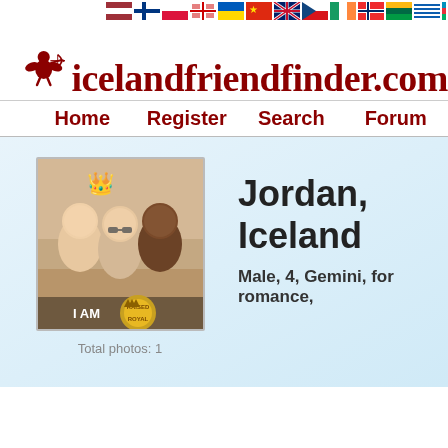[Figure (infographic): Row of country flag icons at top right of page]
[Figure (logo): Icelandfriendfinder.com logo with dark red cupid angel and bold serif text]
Home   Register   Search   Forum
[Figure (photo): Profile photo of three people smiling outdoors, with crown emoji overlay and 'I AM RAISED ROYAL' badge text]
Total photos: 1
Jordan, Iceland
Male, 4, Gemini, for romance,